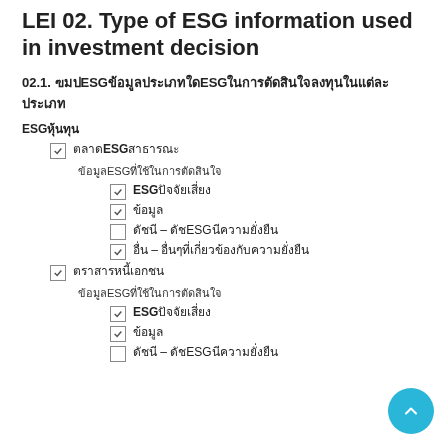LEI 02. Type of ESG information used in investment decision
02.1. ใช้ESGข้อมูลประเภทใดESGในการตัดสินใจลงทุนในแต่ละประเภท
ESGหุ้นทุน
ตลาดESGสาธารณะ (checked)
ข้อมูลESGที่ใช้ในการตัดสินใจ
ESGปัจจัยเสี่ยง (checked)
ข้อมูล (checked)
ดัชนี – ดัชนีESGความยั่งยืน (unchecked)
อื่น – อื่นๆที่เกี่ยวข้องกับความยั่งยืน (checked)
ตราสารหนี้เอกชน (checked)
ข้อมูลESGที่ใช้ในการตัดสินใจ
ESGปัจจัยเสี่ยง (checked)
ข้อมูล (checked)
ดัชนี – ดัชนีESGความยั่งยืน (unchecked)